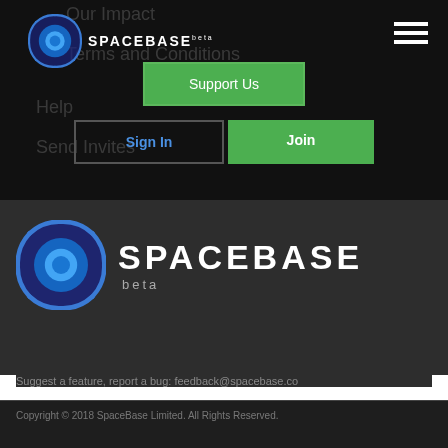[Figure (logo): SpaceBase logo small top-left with navigation overlay]
Our Impact
Terms and Conditions
Help
Send Invites
Support Us
Sign In
Join
[Figure (logo): SpaceBase large logo with circular emblem and beta label]
Suggest a feature, report a bug: feedback@spacebase.co
Copyright © 2018 SpaceBase Limited. All Rights Reserved.